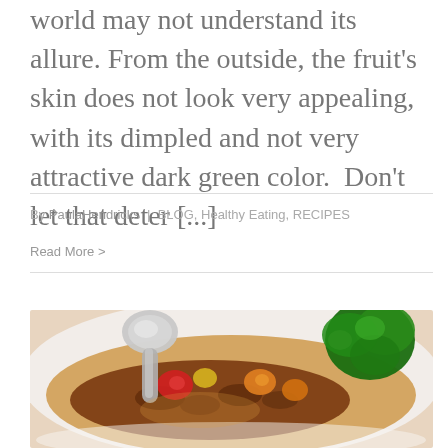world may not understand its allure. From the outside, the fruit's skin does not look very appealing, with its dimpled and not very attractive dark green color.  Don't let that deter [...]
By PaulaHendricks | BLOG, Healthy Eating, RECIPES
Read More >
[Figure (photo): A bowl of colorful soup or stew with ground meat, red and orange vegetables (tomatoes, carrots), and fresh green herbs/cilantro on top, with a silver spoon visible.]